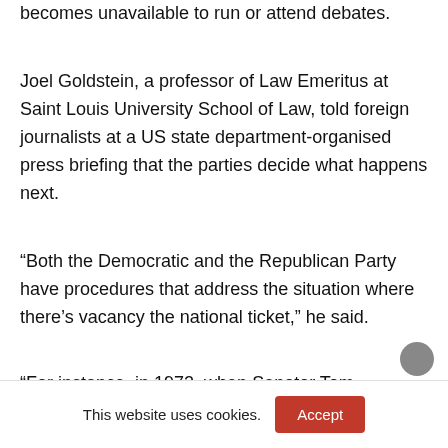becomes unavailable to run or attend debates.
Joel Goldstein, a professor of Law Emeritus at Saint Louis University School of Law, told foreign journalists at a US state department-organised press briefing that the parties decide what happens next.
“Both the Democratic and the Republican Party have procedures that address the situation where there’s vacancy the national ticket,” he said.
“For instance, in 1972, when Senator Tom
This website uses cookies.
Accept